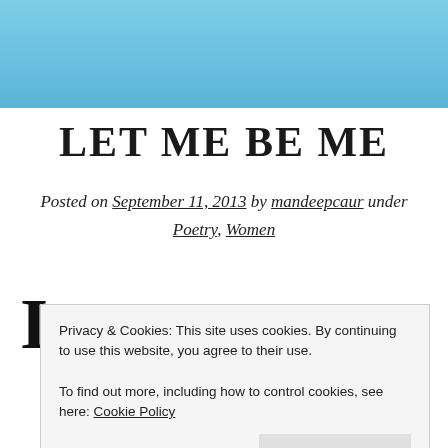[Figure (other): Blue sky header banner image]
LET ME BE ME
Posted on September 11, 2013 by mandeepcaur under Poetry, Women
I AM AS MUCH A HUMAN BEING WITH A HEART AND
Privacy & Cookies: This site uses cookies. By continuing to use this website, you agree to their use. To find out more, including how to control cookies, see here: Cookie Policy
Close and accept